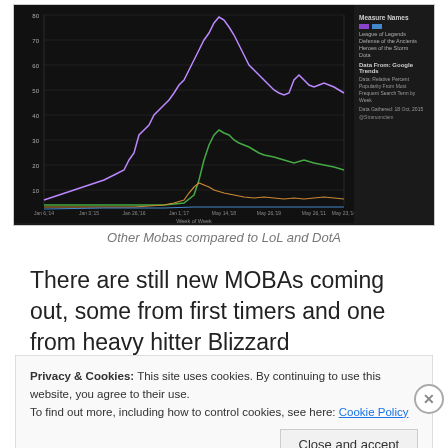[Figure (line-chart): Line chart on dark background showing search trends for multiple MOBA games over time. Purple line (LoL) rises sharply, green line (DotA) rises moderately, orange and other colored lines remain low. X-axis shows weeks from approximately Jan 2014 to May 2014. Legend on right side shows measure names and data source: Google Trends.]
Other Mobas compared to LoL and DotA
There are still new MOBAs coming out, some from first timers and one from heavy hitter Blizzard
Privacy & Cookies: This site uses cookies. By continuing to use this website, you agree to their use.
To find out more, including how to control cookies, see here: Cookie Policy
Close and accept